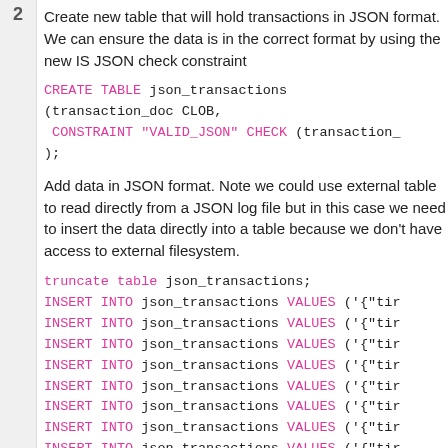Create new table that will hold transactions in JSON format. We can ensure the data is in the correct format by using the new IS JSON check constraint
CREATE TABLE json_transactions
(transaction_doc CLOB,
 CONSTRAINT "VALID_JSON" CHECK (transaction_
);
Add data in JSON format. Note we could use external table to read directly from a JSON log file but in this case we need to insert the data directly into a table because we don't have access to external filesystem.
truncate table json_transactions;
INSERT INTO json_transactions VALUES ('{"tir
INSERT INTO json_transactions VALUES ('{"tir
INSERT INTO json_transactions VALUES ('{"tir
INSERT INTO json_transactions VALUES ('{"tir
INSERT INTO json_transactions VALUES ('{"tir
INSERT INTO json_transactions VALUES ('{"tir
INSERT INTO json_transactions VALUES ('{"tir
INSERT INTO json_transactions VALUES ('{"tir